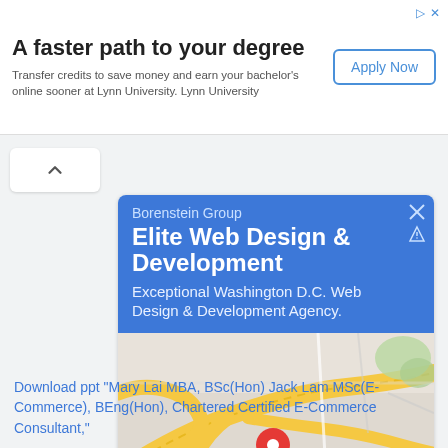[Figure (infographic): Top advertisement banner for Lynn University with title 'A faster path to your degree', subtitle text, and 'Apply Now' button]
[Figure (infographic): Google Maps style advertisement card for Borenstein Group with blue header showing 'Elite Web Design & Development', a map with a location pin, Directions and Call buttons]
Download ppt "Mary Lai MBA, BSc(Hon) Jack Lam MSc(E-Commerce), BEng(Hon), Chartered Certified E-Commerce Consultant,"